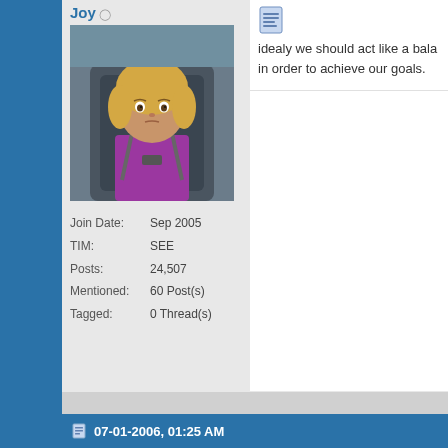Joy
[Figure (photo): Young blonde girl in a car seat wearing a pink/purple shirt]
Join Date: Sep 2005
TIM: SEE
Posts: 24,507
Mentioned: 60 Post(s)
Tagged: 0 Thread(s)
[Figure (screenshot): Document/post icon]
idealy we should act like a bala in order to achieve our goals.
SEE
Check out my Socionics grou https://www.facebook.com/gr
07-01-2006, 01:25 AM
Lewis Stern
Join Date: Jun 2006
Location: UK
[Figure (screenshot): Document/post icon]
so you need to know where you